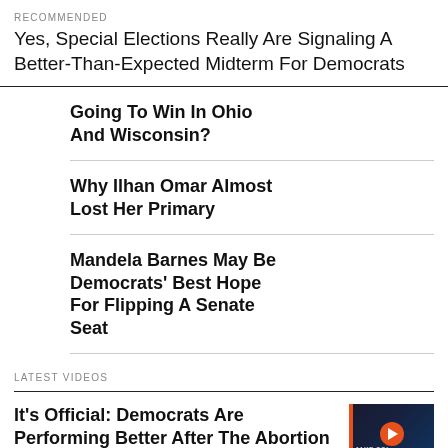RECOMMENDED
Yes, Special Elections Really Are Signaling A Better-Than-Expected Midterm For Democrats
Going To Win In Ohio And Wisconsin?
Why Ilhan Omar Almost Lost Her Primary
Mandela Barnes May Be Democrats' Best Hope For Flipping A Senate Seat
LATEST VIDEOS
It's Official: Democrats Are Performing Better After The Abortion Ruling